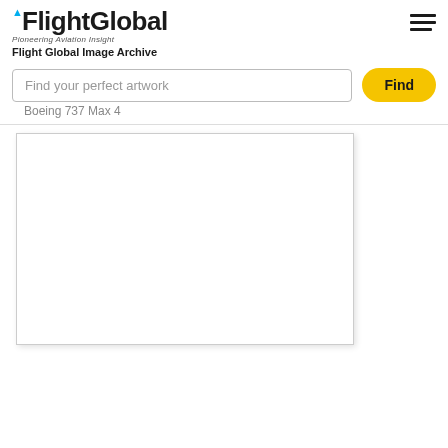[Figure (logo): FlightGlobal logo with blue accent dot and tagline 'Pioneering Aviation Insight']
Flight Global Image Archive
[Figure (screenshot): Hamburger menu icon (three horizontal lines) in top right corner]
Find your perfect artwork
Find
Boeing 737 Max 4
[Figure (photo): Large white image placeholder area with light shadow border]